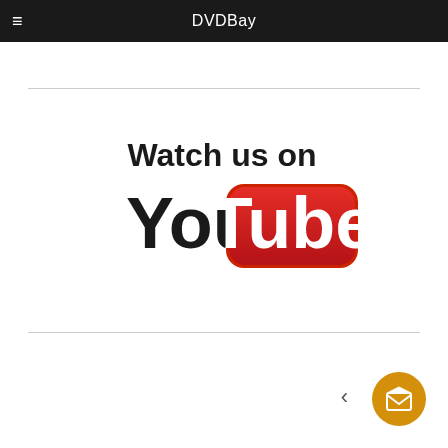DVDBay
[Figure (logo): Watch us on YouTube logo — bold black text 'Watch us on' above YouTube logo with 'You' in black bold and 'Tube' in white text on a red rounded rectangle badge]
[Figure (illustration): Orange circular home/envelope icon button in bottom right corner]